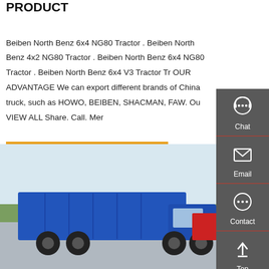PRODUCT
Beiben North Benz 6x4 NG80 Tractor . Beiben North Benz 4x2 NG80 Tractor . Beiben North Benz 6x4 NG80 Tractor . Beiben North Benz 6x4 V3 Tractor Tr OUR ADVANTAGE We can export different brands of China truck, such as HOWO, BEIBEN, SHACMAN, FAW. Ou VIEW ALL Share. Call. Mer
Get a Quote
[Figure (photo): Blue dump truck / tipper truck parked outdoors with green trees and light sky in background]
[Figure (other): Sidebar with Chat, Email, Contact, and Top navigation icons on dark grey background]